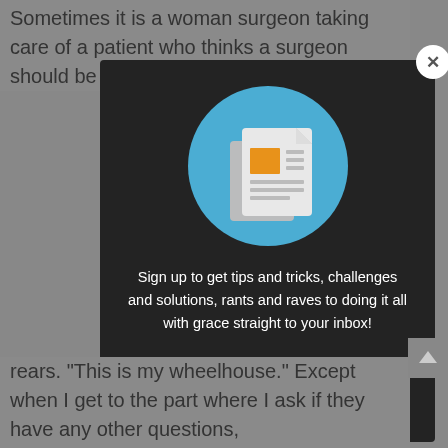Sometimes it is a woman surgeon taking care of a patient who thinks a surgeon should be a man.  An
[Figure (screenshot): A modal popup with dark background (#232323) containing a newsletter signup prompt. At the top right is a white circular close button with an X. In the center top area is a blue circle containing a newspaper/document icon (white papers with orange rectangle). Below the icon is white text reading 'Sign up to get tips and tricks, challenges and solutions, rants and raves to doing it all with grace straight to your inbox!' followed by a 'Name' label in bold white text at the bottom.]
rears.  This is my wheelhouse.  Except when I get to the part where I ask if they have any other questions,